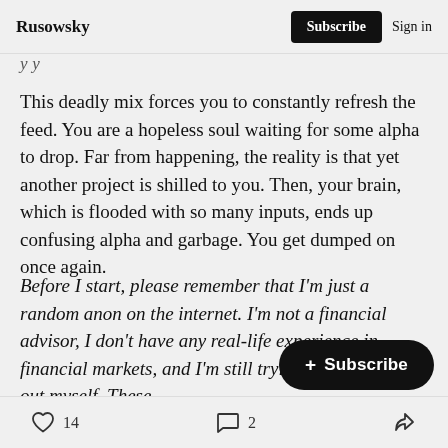Rusowsky  Subscribe  Sign in
This deadly mix forces you to constantly refresh the feed. You are a hopeless soul waiting for some alpha to drop. Far from happening, the reality is that yet another project is shilled to you. Then, your brain, which is flooded with so many inputs, ends up confusing alpha and garbage. You get dumped on once again.
Before I start, please remember that I'm just a random anon on the internet. I'm not a financial advisor, I don't have any real-life experience in financial markets, and I'm still trying to figure shit out myself. These [obscured] thoughts. I share them because I'm try[obscured]
❤ 14   💬 2   ↪